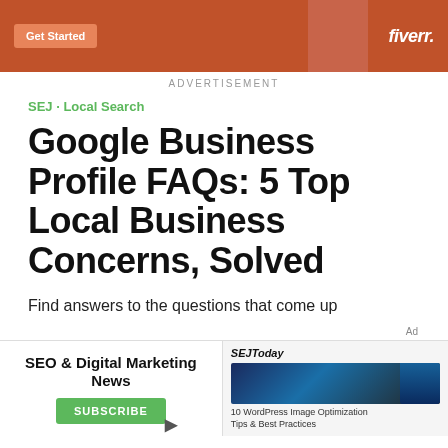[Figure (screenshot): Fiverr advertisement banner with orange background, Get Started button, and Fiverr logo]
ADVERTISEMENT
SEJ · Local Search
Google Business Profile FAQs: 5 Top Local Business Concerns, Solved
Find answers to the questions that come up most often about Google Business Profile, and learn how to handle them.
[Figure (screenshot): Inline advertisement overlay with SEO & Digital Marketing News subscribe prompt on left, and SEJToday newsletter preview on right with close button]